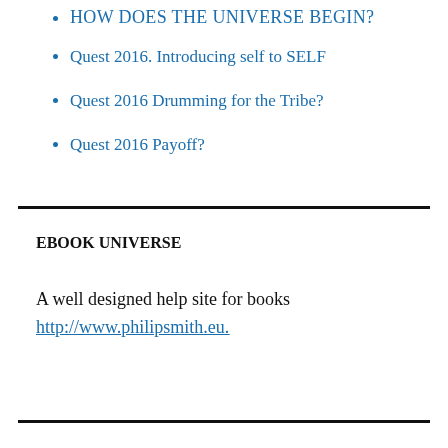HOW DOES THE UNIVERSE BEGIN?
Quest 2016. Introducing self to SELF
Quest 2016 Drumming for the Tribe?
Quest 2016 Payoff?
EBOOK UNIVERSE
A well designed help site for books http://www.philipsmith.eu.